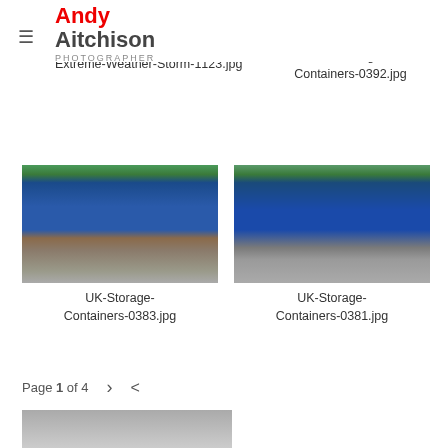Andy Aitchison PHOTOGRAPHER
[Figure (photo): Partial top image - Extreme Weather Storm photo cropped at top]
[Figure (photo): Partial top image - UK Storage Containers photo cropped at top]
Extreme-Weather-Storm-1123.jpg
UK-Storage-Containers-0392.jpg
[Figure (photo): UK Storage Containers yard with blue shipping containers and portable toilet - 0383]
[Figure (photo): UK Storage Containers yard with blue shipping containers and portable toilet - 0381]
UK-Storage-Containers-0383.jpg
UK-Storage-Containers-0381.jpg
Page 1 of 4
[Figure (photo): Partial bottom image cropped]